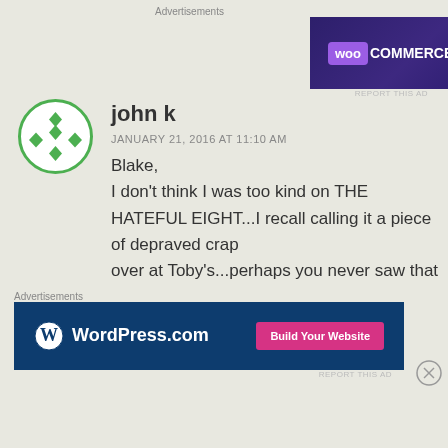Advertisements
[Figure (screenshot): WooCommerce banner ad: 'Turn your hobby into a business in 8 steps' on dark purple background with geometric shapes]
[Figure (photo): Green circular avatar/logo with diamond cross pattern for user 'john k']
john k
JANUARY 21, 2016 AT 11:10 AM
Blake,
I don't think I was too kind on THE HATEFUL EIGHT...I recall calling it a piece of depraved crap
over at Toby's...perhaps you never saw that
Advertisements
[Figure (screenshot): WordPress.com banner ad with 'Build Your Website' pink button on dark blue background]